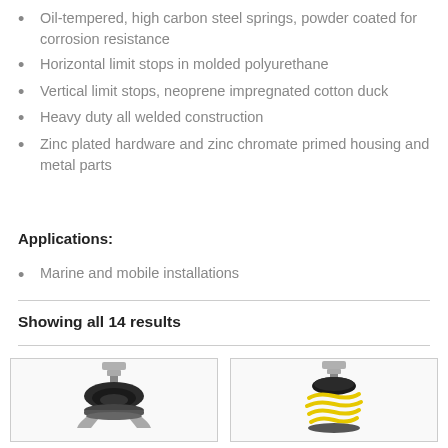Oil-tempered, high carbon steel springs, powder coated for corrosion resistance
Horizontal limit stops in molded polyurethane
Vertical limit stops, neoprene impregnated cotton duck
Heavy duty all welded construction
Zinc plated hardware and zinc chromate primed housing and metal parts
Applications:
Marine and mobile installations
Showing all 14 results
[Figure (photo): Product photo of a black rubber vibration isolator mount with metal hardware bolt on top]
[Figure (photo): Product photo of a black rubber vibration isolator mount with yellow spring coil and metal bolt hardware]